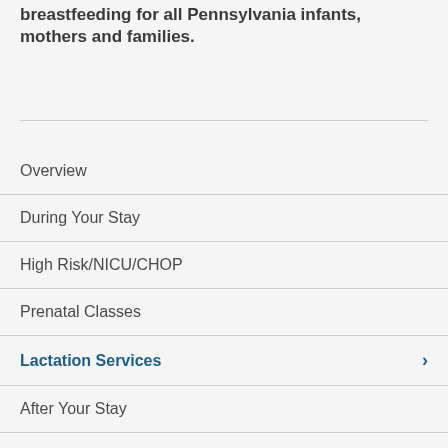breastfeeding for all Pennsylvania infants, mothers and families.
Overview
During Your Stay
High Risk/NICU/CHOP
Prenatal Classes
Lactation Services
After Your Stay